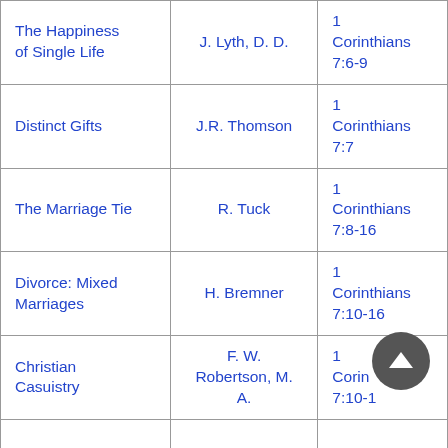| Title | Author | Scripture |
| --- | --- | --- |
| The Happiness of Single Life | J. Lyth, D. D. | 1 Corinthians 7:6-9 |
| Distinct Gifts | J.R. Thomson | 1 Corinthians 7:7 |
| The Marriage Tie | R. Tuck | 1 Corinthians 7:8-16 |
| Divorce: Mixed Marriages | H. Bremner | 1 Corinthians 7:10-16 |
| Christian Casuistry | F. W. Robertson, M. A. | 1 Corinthians 7:10-17 |
|  |  |  |